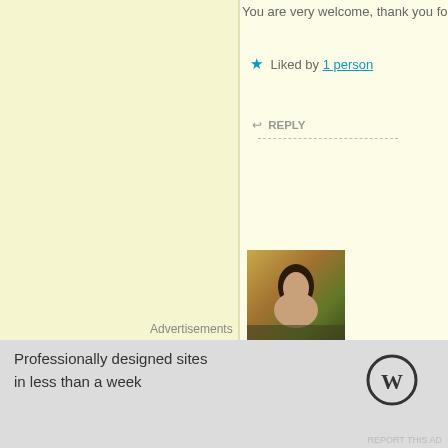You are very welcome, thank you for stopping by
★ Liked by 1 person
↩ REPLY
Giselle Marie
Oct 02, 2015 @ 11:47:20
Hey your blog is super interesting… thanks for checking min
http://www.popcornandink.wordpress.com
★ Liked by 2 people
↩ REPLY
Mohenjo
Oct 02, 2015 @ 12:08:01
Advertisements
Professionally designed sites in less than a week